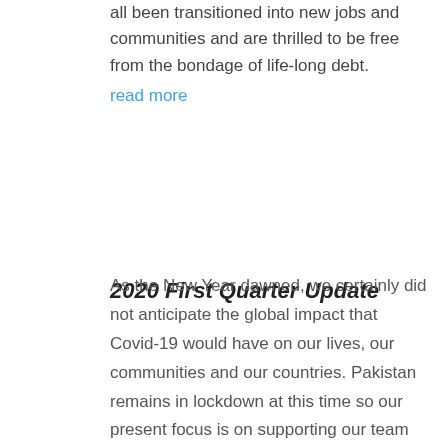all been transitioned into new jobs and communities and are thrilled to be free from the bondage of life-long debt.
read more
2020 First Quarter Update
As the New Year dawned, we certainly did not anticipate the global impact that Covid-19 would have on our lives, our communities and our countries. Pakistan remains in lockdown at this time so our present focus is on supporting our team there and helping with emergency aid for families who are in need of basic supplies. We are very thankful for donations we have received to enable this.
Prior to the current situation unfolding, this year got off to a smooth and steady start. We are proud to report that in the 1st quarter of 2020, we set